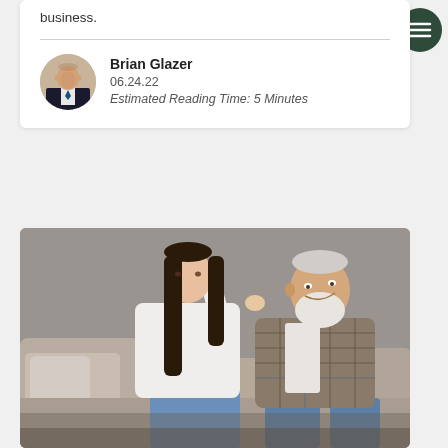business.
Brian Glazer
06.24.22
Estimated Reading Time: 5 Minutes
[Figure (photo): A young woman with long dark hair in a white top and jeans leaning on an older man with a white beard wearing a plaid shirt, both sitting on a couch, the old man smiling]